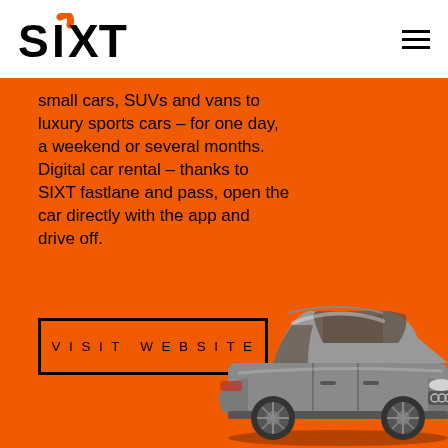[Figure (logo): SIXT car rental company logo with orange swoosh accent on the letter I]
small cars, SUVs and vans to luxury sports cars – for one day, a weekend or several months. Digital car rental – thanks to SIXT fastlane and pass, open the car directly with the app and drive off.
VISIT WEBSITE
[Figure (photo): Silver Audi A6 sedan photographed from front-left angle on orange background]